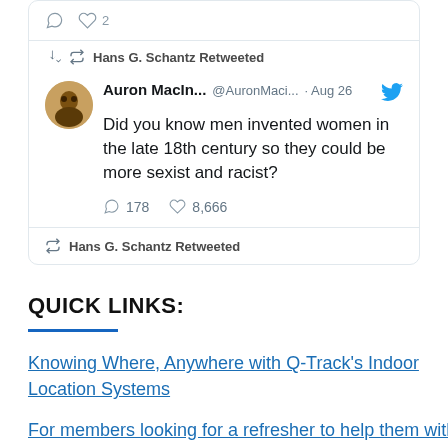[Figure (screenshot): Partial tweet card showing reply and like icons with count '2']
Hans G. Schantz Retweeted
Auron MacIn... @AuronMaci... · Aug 26
Did you know men invented women in the late 18th century so they could be more sexist and racist?
178   8,666
Hans G. Schantz Retweeted
QUICK LINKS:
Knowing Where, Anywhere with Q-Track's Indoor Location Systems
(truncated link text)